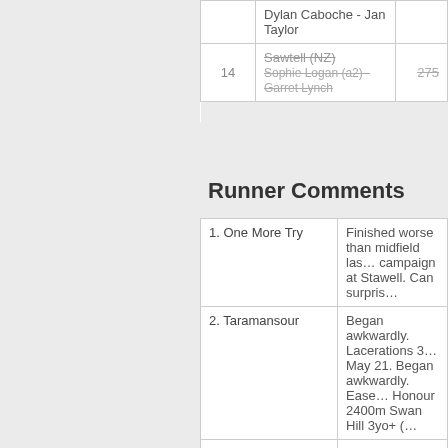| # | Horse / Trainer | Price |
| --- | --- | --- |
|  | Dylan Caboche - Jan Taylor |  |
| 14 | Sawtell (NZ) / Sophie Logan (a2) - Garret Lynch | 275 |
Runner Comments
| Runner | Comment |
| --- | --- |
| 1. One More Try | Finished worse than midfield last campaign at Stawell. Can surpris… |
| 2. Taramansour | Began awkwardly. Lacerations 3 May 21. Began awkwardly. Ease… Honour 2400m Swan Hill 3yo+ (… |
| 3. Brawl | Won once this prep at Casterton… Casterton on a soft track. Expec… |
| 4. Lord Bouzeron | On a seven day back-up. Was a… |
| 5. Reflect the Stars | Placed last start at long odds at… back on board. A winning chanc… |
| 6. Capricorn Ridge | Can't knock the form with three w… on a soft track. Claim should hel… |
| 7. Young Hostess | Held up near 600m 4-3/4 len 4th… 27. 1-1/4 len 4th of 11 (6) $6.0… |